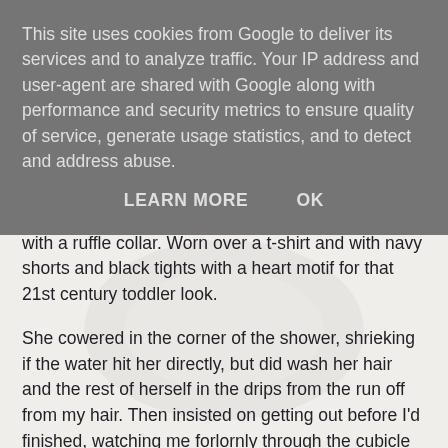This site uses cookies from Google to deliver its services and to analyze traffic. Your IP address and user-agent are shared with Google along with performance and security metrics to ensure quality of service, generate usage statistics, and to detect and address abuse.
LEARN MORE   OK
print on a white ground, smocked at the chest and with a ruffle collar. Worn over a t-shirt and with navy shorts and black tights with a heart motif for that 21st century toddler look.
She cowered in the corner of the shower, shrieking if the water hit her directly, but did wash her hair and the rest of herself in the drips from the run off from my hair. Then insisted on getting out before I'd finished, watching me forlornly through the cubicle in her too big towelling dressing gown whilst I washed my hair. Whilst I dressed, Lydia was pretending to be a tiger and I was phoning the zoo saying they'd lost a tiger and please could they come and pick it up whilst Tom 'hid' under the covers.